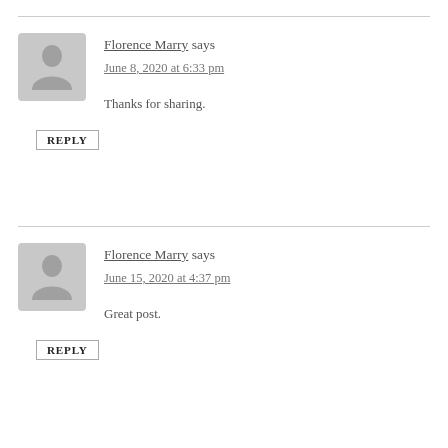Florence Marry says
June 8, 2020 at 6:33 pm
Thanks for sharing.
REPLY
Florence Marry says
June 15, 2020 at 4:37 pm
Great post.
REPLY